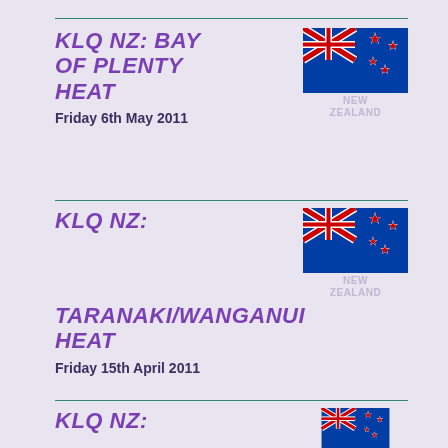KLQ NZ: BAY OF PLENTY HEAT
Friday 6th May 2011
KLQ NZ: TARANAKI/WANGANUI HEAT
Friday 15th April 2011
KLQ NZ: